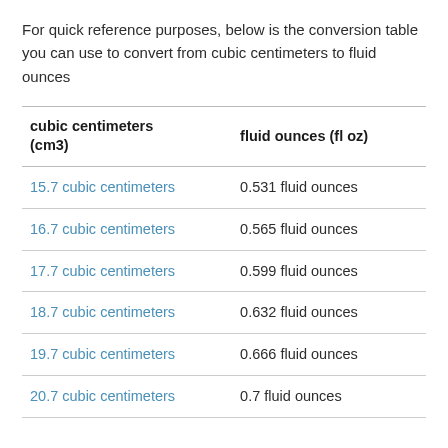For quick reference purposes, below is the conversion table you can use to convert from cubic centimeters to fluid ounces
| cubic centimeters (cm3) | fluid ounces (fl oz) |
| --- | --- |
| 15.7 cubic centimeters | 0.531 fluid ounces |
| 16.7 cubic centimeters | 0.565 fluid ounces |
| 17.7 cubic centimeters | 0.599 fluid ounces |
| 18.7 cubic centimeters | 0.632 fluid ounces |
| 19.7 cubic centimeters | 0.666 fluid ounces |
| 20.7 cubic centimeters | 0.7 fluid ounces |